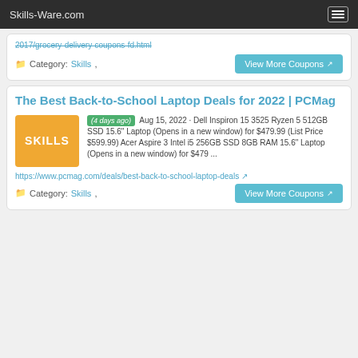Skills-Ware.com
2017/grocery-delivery-coupons-fd.html
Category: Skills,
The Best Back-to-School Laptop Deals for 2022 | PCMag
(4 days ago) Aug 15, 2022 · Dell Inspiron 15 3525 Ryzen 5 512GB SSD 15.6" Laptop (Opens in a new window) for $479.99 (List Price $599.99) Acer Aspire 3 Intel i5 256GB SSD 8GB RAM 15.6" Laptop (Opens in a new window) for $479 ...
https://www.pcmag.com/deals/best-back-to-school-laptop-deals
Category: Skills,